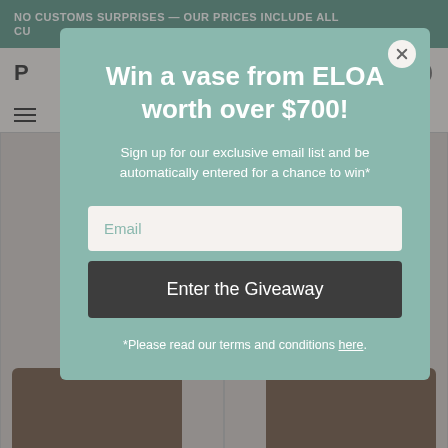NO CUSTOMS SURPRISES — OUR PRICES INCLUDE ALL CU...
[Figure (screenshot): Background website with navigation logo, hamburger menu, and product grid showing brown decorative vases on a beige background]
Win a vase from ELOA worth over $700!
Sign up for our exclusive email list and be automatically entered for a chance to win*
Email
Enter the Giveaway
*Please read our terms and conditions here